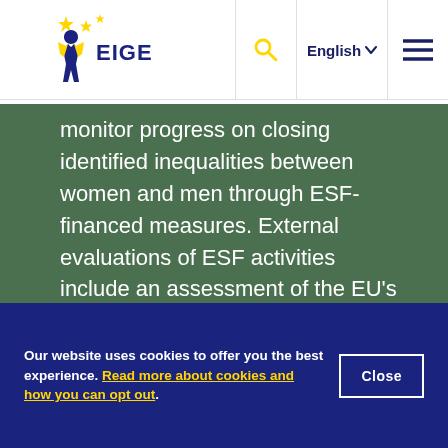[Figure (logo): EIGE European Institute for Gender Equality logo — blue and yellow star with figure]
English ∨  ≡
monitor progress on closing identified inequalities between women and men through ESF-financed measures. External evaluations of ESF activities include an assessment of the EU's horizontal principles, with a focus on non-discrimination and equal opportunities for women and men.
The EAFRD's monitoring committee is
Our website uses cookies to offer you the best experience. Read more about cookies and how you can opt out.